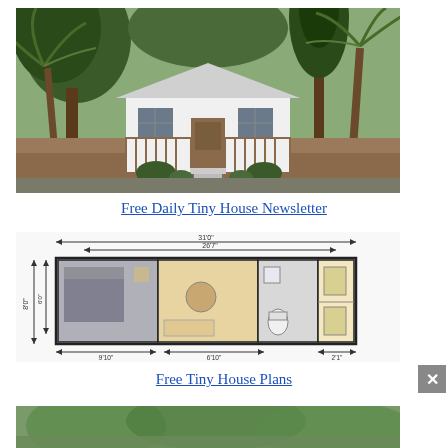[Figure (photo): Exterior photo of a small white cottage-style tiny house surrounded by tall trees including palm trees and pines, with a wooden front porch and steps, pathway leading to the entrance]
Free Daily Tiny House Newsletter
[Figure (engineering-diagram): Floor plan of a tiny house on trailer, showing dimensions approximately 31'0" total length and 8'0" width, with labeled rooms including bedroom on left side, kitchen/living area in middle, bathroom and storage areas]
Free Tiny House Plans
[Figure (photo): Partial exterior photo of another tiny house structure surrounded by green trees/vegetation (partially visible at bottom of page)]